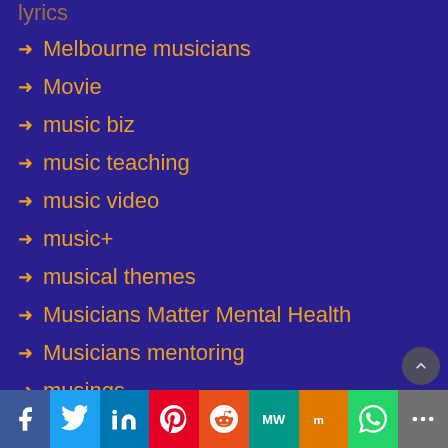lyrics
Melbourne musicians
Movie
music biz
music teaching
music video
music+
musical themes
Musicians Matter Mental Health
Musicians mentoring
musings
new release